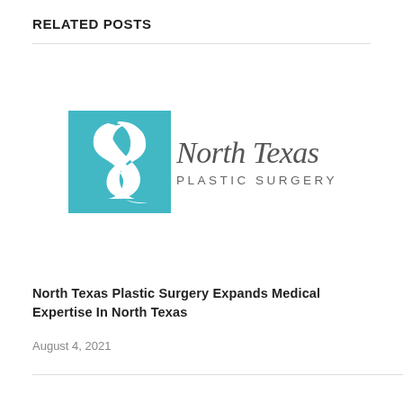RELATED POSTS
[Figure (logo): North Texas Plastic Surgery logo: teal square with stylized S-curve figure in white on left, text 'North Texas PLASTIC SURGERY' in dark grey on right]
North Texas Plastic Surgery Expands Medical Expertise In North Texas
August 4, 2021